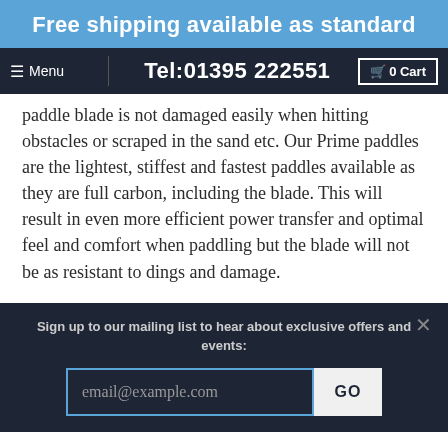Free shipping available as standard
Menu | Tel:01395 222551 | 0 Cart
paddle blade is not damaged easily when hitting obstacles or scraped in the sand etc. Our Prime paddles are the lightest, stiffest and fastest paddles available as they are full carbon, including the blade. This will result in even more efficient power transfer and optimal feel and comfort when paddling but the blade will not be as resistant to dings and damage.
Sign up to our mailing list to hear about exclusive offers and events:
email@example.com
GO